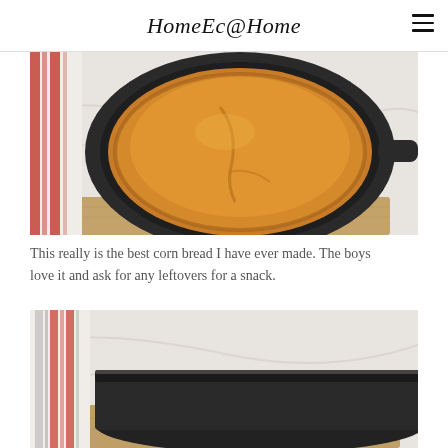HomeEc@Home
[Figure (photo): Top-down view of golden cornbread in a black cast iron skillet on a wooden board, with a red and white striped dish towel on the left, on a marble surface]
This really is the best corn bread I have ever made.  The boys love it and ask for any leftovers for a snack.
[Figure (photo): Close-up side view of a black cast iron skillet on a wooden board with a red, white, and gray striped dish towel beside it on a marble surface]